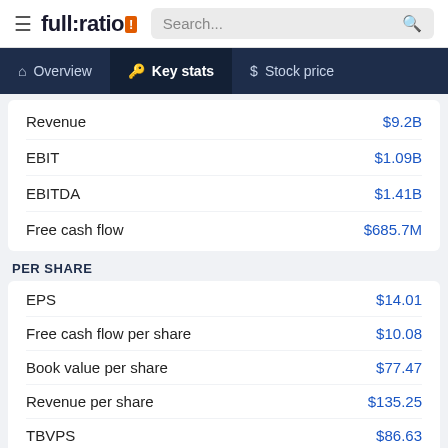full:ratio — Key stats
| Metric | Value |
| --- | --- |
| Revenue | $9.2B |
| EBIT | $1.09B |
| EBITDA | $1.41B |
| Free cash flow | $685.7M |
PER SHARE
| Metric | Value |
| --- | --- |
| EPS | $14.01 |
| Free cash flow per share | $10.08 |
| Book value per share | $77.47 |
| Revenue per share | $135.25 |
| TBVPS | $86.63 |